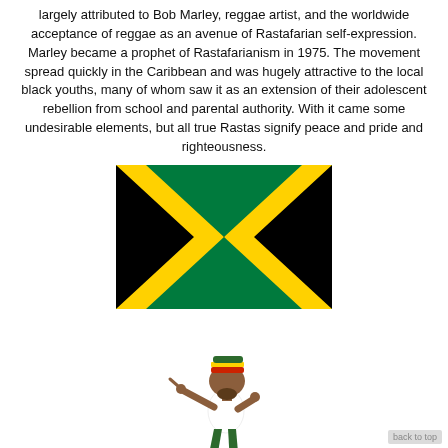largely attributed to Bob Marley, reggae artist, and the worldwide acceptance of reggae as an avenue of Rastafarian self-expression. Marley became a prophet of Rastafarianism in 1975. The movement spread quickly in the Caribbean and was hugely attractive to the local black youths, many of whom saw it as an extension of their adolescent rebellion from school and parental authority. With it came some undesirable elements, but all true Rastas signify peace and pride and righteousness.
[Figure (illustration): Jamaican flag – black triangles on left and right, green triangles on top and bottom, gold/yellow X-shaped cross (saltire) dividing them]
[Figure (illustration): Cartoon illustration of a Rastafarian man dancing/pointing, wearing green pants, white top, red shoes, and a red-yellow-green striped hat]
back to top